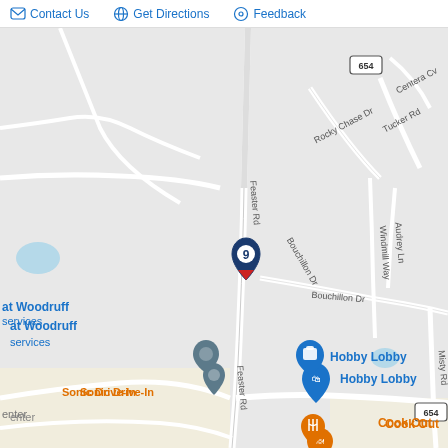Contact Us   Get Directions   Feedback
[Figure (map): Street map showing Feaster Rd area in Woodruff, SC. Visible roads include Feaster Rd, Bouchillon Dr, Rocky Chase Dr, Tucker Rd, Windmill Way, Audrey Ln, Misty Rd. Route 654 marker visible. Points of interest include Hobby Lobby, The Mills, ALDI, Sonic Drive-In, Cook Out, and a numbered location marker '9' on Feaster Rd.]